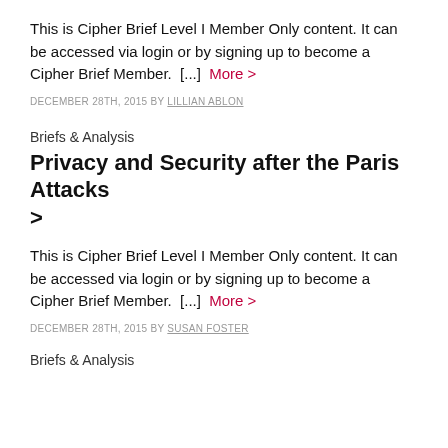This is Cipher Brief Level I Member Only content. It can be accessed via login or by signing up to become a Cipher Brief Member.  [...]  More >
DECEMBER 28TH, 2015 BY LILLIAN ABLON
Briefs & Analysis
Privacy and Security after the Paris Attacks >
This is Cipher Brief Level I Member Only content. It can be accessed via login or by signing up to become a Cipher Brief Member.  [...]  More >
DECEMBER 28TH, 2015 BY SUSAN FOSTER
Briefs & Analysis